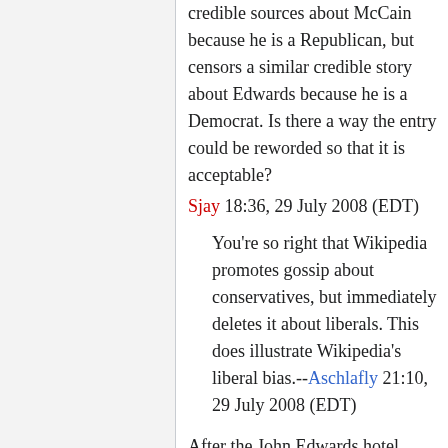credible sources about McCain because he is a Republican, but censors a similar credible story about Edwards because he is a Democrat. Is there a way the entry could be reworded so that it is acceptable? Sjay 18:36, 29 July 2008 (EDT)
You're so right that Wikipedia promotes gossip about conservatives, but immediately deletes it about liberals. This does illustrate Wikipedia's liberal bias.--Aschlafly 21:10, 29 July 2008 (EDT)
After the John Edwards hotel story became common knowledge, some wikipedia editors attempted to add it to his page. However, a wikipedia administrator deleted that information and locked the page to prevent the story from being included [27].